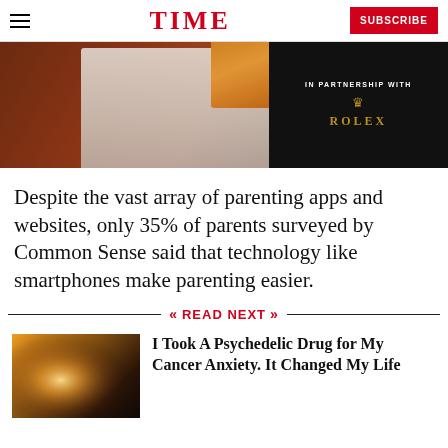TIME — SUBSCRIBE
[Figure (photo): Advertisement image showing a person in a white suit on a dark reddish background, with an orange garment visible, and a dark panel on the right reading 'IN PARTNERSHIP WITH ROLEX' with Rolex crown and text in gold.]
Despite the vast array of parenting apps and websites, only 35% of parents surveyed by Common Sense said that technology like smartphones make parenting easier.
READ NEXT
[Figure (photo): Thumbnail image of sunlight rays breaking through dark landscape, associated with article about psychedelic drug for cancer anxiety.]
I Took A Psychedelic Drug for My Cancer Anxiety. It Changed My Life